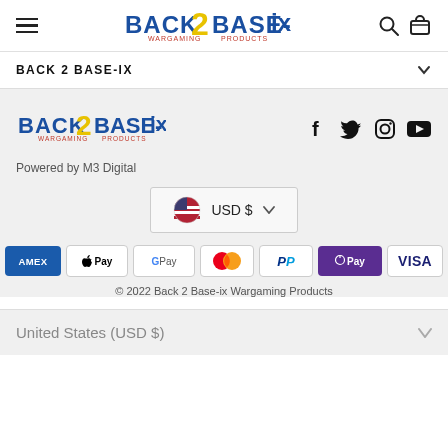Back 2 Base-ix (website header with hamburger menu, logo, search and cart icons)
BACK 2 BASE-IX
[Figure (logo): Back 2 Base-ix wargaming products logo]
[Figure (illustration): Social media icons: Facebook, Twitter, Instagram, YouTube]
Powered by M3 Digital
[Figure (infographic): USD $ currency selector with US flag and dropdown arrow]
[Figure (infographic): Payment method badges: AMEX, Apple Pay, Google Pay, Mastercard, PayPal, Shop Pay, Visa]
© 2022 Back 2 Base-ix Wargaming Products
United States (USD $)